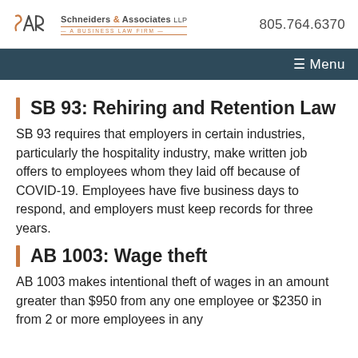Schneiders & Associates LLP — A Business Law Firm | 805.764.6370
SB 93: Rehiring and Retention Law
SB 93 requires that employers in certain industries, particularly the hospitality industry, make written job offers to employees whom they laid off because of COVID-19. Employees have five business days to respond, and employers must keep records for three years.
AB 1003: Wage theft
AB 1003 makes intentional theft of wages in an amount greater than $950 from any one employee or $2350 in from 2 or more employees in any